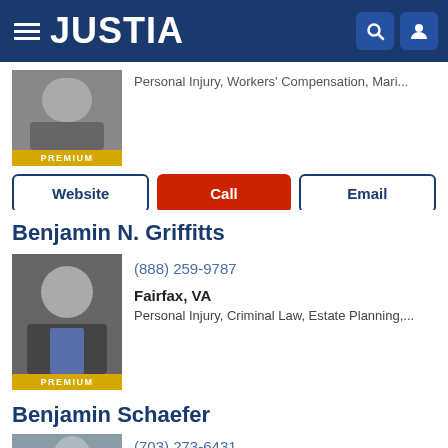JUSTIA
Personal Injury, Workers' Compensation, Mari...
Website | Call | Email
Benjamin N. Griffitts
(888) 259-9787
Fairfax, VA
Personal Injury, Criminal Law, Estate Planning,...
Website | Call | Email
Benjamin Schaefer
(703) 273-6431